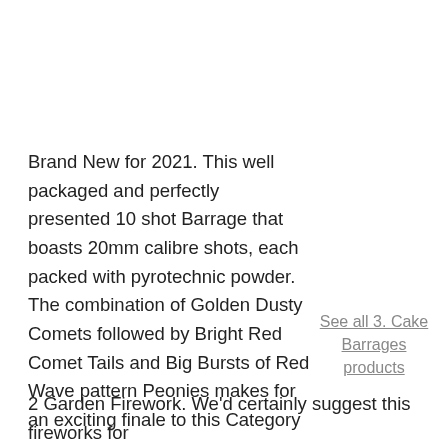Brand New for 2021. This well packaged and perfectly presented 10 shot Barrage that boasts 20mm calibre shots, each packed with pyrotechnic powder. The combination of Golden Dusty Comets followed by Bright Red Comet Tails and Big Bursts of Red Wave pattern Peonies makes for an exciting finale to this Category 2 Garden Firework. We'd certainly suggest this fireworks for any family bonfire party or home garden celebration.
See all 3. Cake Barrages products